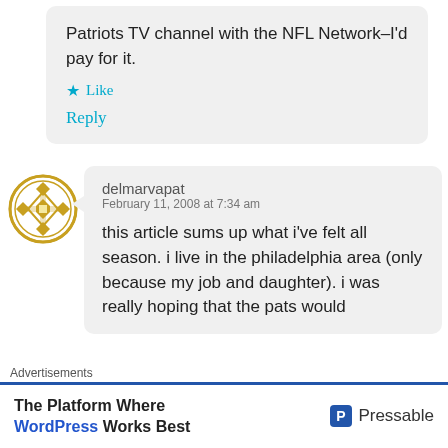Patriots TV channel with the NFL Network–I'd pay for it.
Like
Reply
delmarvapat
February 11, 2008 at 7:34 am
this article sums up what i've felt all season. i live in the philadelphia area (only because my job and daughter). i was really hoping that the pats would
Advertisements
The Platform Where WordPress Works Best